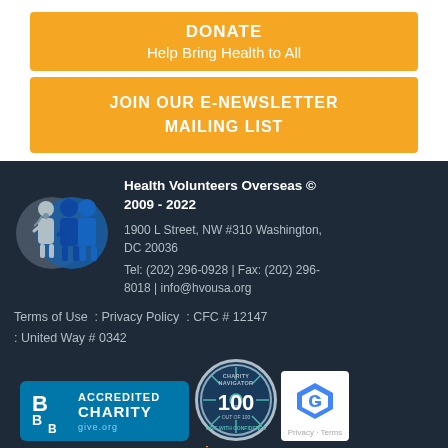DONATE
Help Bring Health to All
JOIN OUR E-NEWSLETTER MAILING LIST
Health Volunteers Overseas © 2009 - 2022
1900 L Street, NW #310 Washington, DC 20036
Tel: (202) 296-0928 | Fax: (202) 296-8018 | info@hvousa.org
Terms of Use  :  Privacy Policy  :  CFC # 12147  :  United Way # 0342
[Figure (logo): BBB Accredited Charity badge with blue background]
[Figure (logo): Charity Navigator 100 out of 100 circular badge]
[Figure (logo): reCAPTCHA badge]
give.org